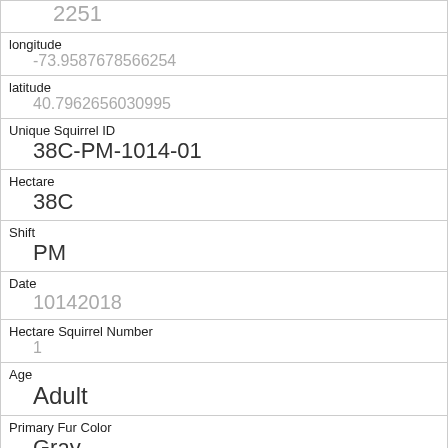| Field | Value |
| --- | --- |
|  | 2251 |
| longitude | -73.9587678566254 |
| latitude | 40.7962656030995 |
| Unique Squirrel ID | 38C-PM-1014-01 |
| Hectare | 38C |
| Shift | PM |
| Date | 10142018 |
| Hectare Squirrel Number | 1 |
| Age | Adult |
| Primary Fur Color | Gray |
| Highlight Fur Color |  |